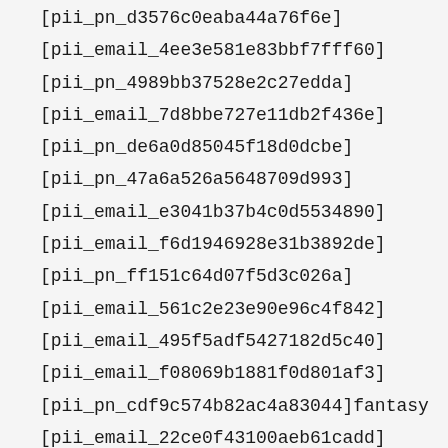[pii_pn_d3576c0eaba44a76f6e]
[pii_email_4ee3e581e83bbf7fff60]
[pii_pn_4989bb37528e2c27edda]
[pii_email_7d8bbe727e11db2f436e]
[pii_pn_de6a0d85045f18d0dcbe]
[pii_pn_47a6a526a5648709d993]
[pii_email_e3041b37b4c0d5534890]
[pii_email_f6d1946928e31b3892de]
[pii_pn_ff151c64d07f5d3c026a]
[pii_email_561c2e23e90e96c4f842]
[pii_email_495f5adf5427182d5c40]
[pii_email_f08069b1881f0d801af3]
[pii_pn_cdf9c574b82ac4a83044]fantasy
[pii_email_22ce0f43100aeb61cadd]
[pii_email_...]